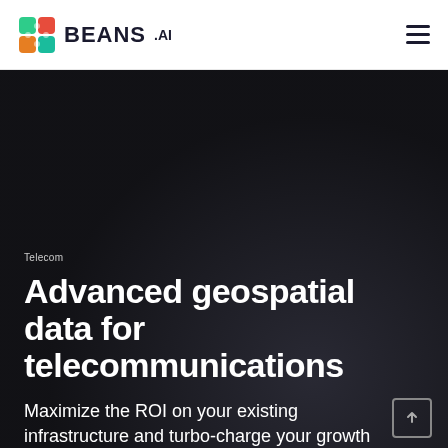BEANS .AI
Telecom
Advanced geospatial data for telecommunications
Maximize the ROI on your existing infrastructure and turbo-charge your growth